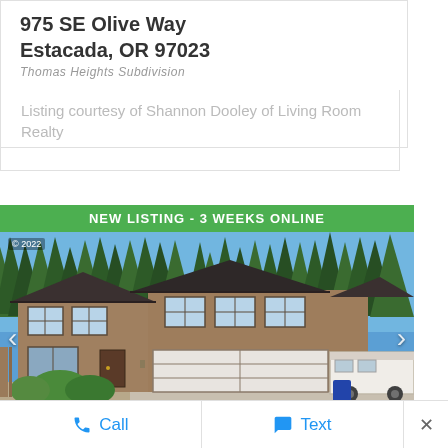975 SE Olive Way
Estacada, OR 97023
Thomas Heights Subdivision
Listing courtesy of Shannon Dooley of Living Room Realty
[Figure (photo): Exterior photo of a two-story house with brown/tan siding, dark roof, two-car garage with white door, RV parked in driveway, surrounded by tall evergreen trees. Green banner at top reads NEW LISTING - 3 WEEKS ONLINE with copyright 2022 badge.]
Call
Text